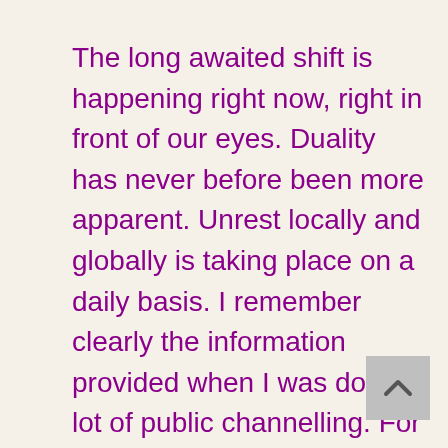The long awaited shift is happening right now, right in front of our eyes. Duality has never before been more apparent. Unrest locally and globally is taking place on a daily basis. I remember clearly the information provided when I was doing a lot of public channelling. For several years I channelled the energy of the soul that incarnated as Edgar Cayce to audiences in the north-east of the States. It was stated that a time would come when systems would collapse; also that there would be two distinct and separate